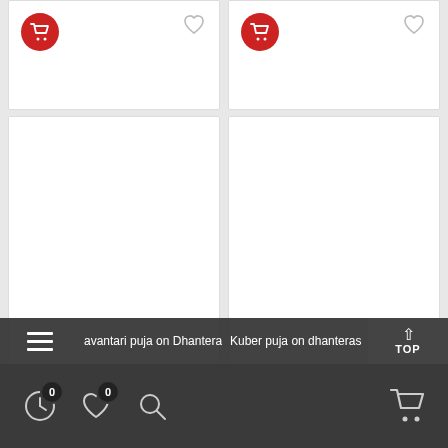[Figure (screenshot): Mobile e-commerce app screenshot showing product listing cards with cart and wishlist icons. Two cards visible in top row (partially cropped), two large cards in main row with search/image/info icons. Bottom overlay shows hamburger menu, product names, TOP button. Bottom nav has clock, heart, search icons with badges showing 0, and a cart icon.]
avantari puja on Dhanteras
Kuber puja on dhanteras